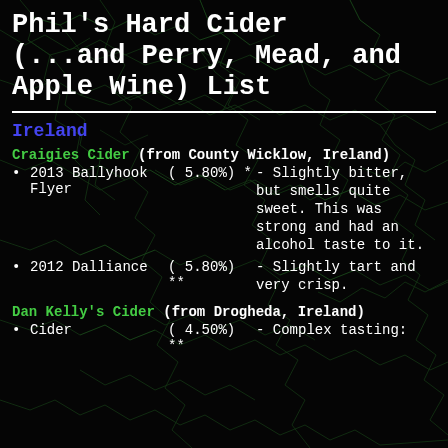Phil's Hard Cider (...and Perry, Mead, and Apple Wine) List
Ireland
Craigies Cider (from County Wicklow, Ireland)
2013 Ballyhook Flyer ( 5.80%) * - Slightly bitter, but smells quite sweet. This was strong and had an alcohol taste to it.
2012 Dalliance ( 5.80%) ** - Slightly tart and very crisp.
Dan Kelly's Cider (from Drogheda, Ireland)
Cider ( 4.50%) ** - Complex tasting: